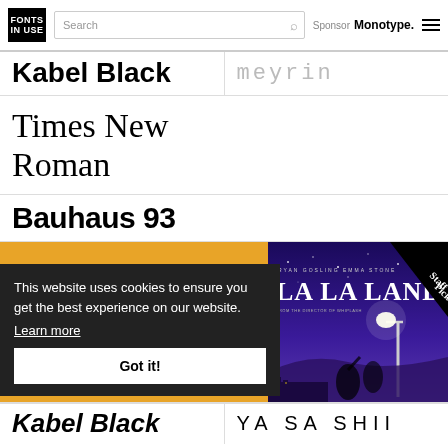FONTS IN USE | Search | Sponsor Monotype.
Kabel Black
Meyrin
Times New Roman
Bauhaus 93
[Figure (photo): Yellow/mustard t-shirt folded flat]
[Figure (photo): La La Land movie poster with Ryan Gosling and Emma Stone, Staff Pick badge, purple night sky background]
This website uses cookies to ensure you get the best experience on our website. Learn more
Got it!
Kabel Black
YA SA SHII